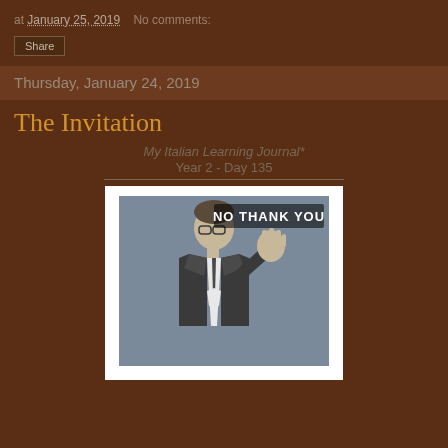at January 25, 2019   No comments:
Share
Thursday, January 24, 2019
The Invitation
My Italian Learning Journal*
Year 2 - Day 135
[Figure (photo): A vintage-style black and white meme image of a man in a suit holding his hand up with text 'NO THANK YOU']